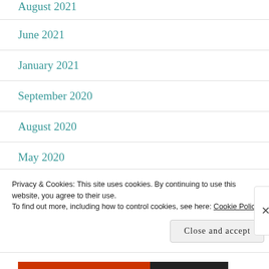August 2021
June 2021
January 2021
September 2020
August 2020
May 2020
March 2020
January 2020
Privacy & Cookies: This site uses cookies. By continuing to use this website, you agree to their use.
To find out more, including how to control cookies, see here: Cookie Policy
Close and accept